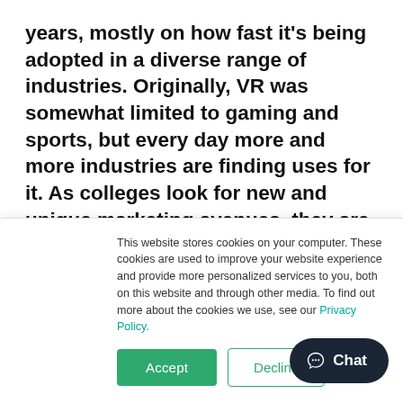years, mostly on how fast it's being adopted in a diverse range of industries. Originally, VR was somewhat limited to gaming and sports, but every day more and more industries are finding uses for it. As colleges look for new and unique marketing avenues, they are looking at using virtual reality to recruit prospective students.
Relevanc...
This website stores cookies on your computer. These cookies are used to improve your website experience and provide more personalized services to you, both on this website and through other media. To find out more about the cookies we use, see our Privacy Policy.